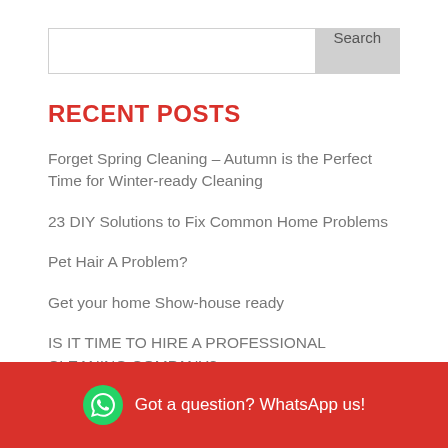Search
RECENT POSTS
Forget Spring Cleaning – Autumn is the Perfect Time for Winter-ready Cleaning
23 DIY Solutions to Fix Common Home Problems
Pet Hair A Problem?
Get your home Show-house ready
IS IT TIME TO HIRE A PROFESSIONAL CLEANING COMPANY?
Got a question? WhatsApp us!